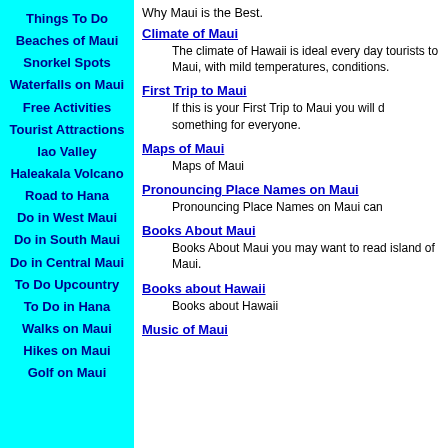Things To Do
Beaches of Maui
Snorkel Spots
Waterfalls on Maui
Free Activities
Tourist Attractions
Iao Valley
Haleakala Volcano
Road to Hana
Do in West Maui
Do in South Maui
Do in Central Maui
To Do Upcountry
To Do in Hana
Walks on Maui
Hikes on Maui
Golf on Maui
Why Maui is the Best.
Climate of Maui
The climate of Hawaii is ideal every day tourists to Maui, with mild temperatures, conditions.
First Trip to Maui
If this is your First Trip to Maui you will d something for everyone.
Maps of Maui
Maps of Maui
Pronouncing Place Names on Maui
Pronouncing Place Names on Maui can
Books About Maui
Books About Maui you may want to read island of Maui.
Books about Hawaii
Books about Hawaii
Music of Maui